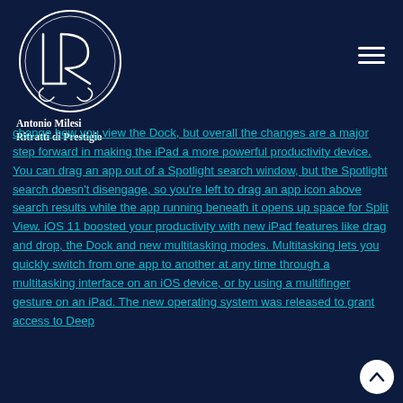[Figure (logo): Antonio Milesi Ritratti di Prestigio circular logo with stylized R monogram on dark navy background]
Antonio Milesi
Ritratti di Prestigio
change how you view the Dock, but overall the changes are a major step forward in making the iPad a more powerful productivity device. You can drag an app out of a Spotlight search window, but the Spotlight search doesn't disengage, so you're left to drag an app icon above search results while the app running beneath it opens up space for Split View. iOS 11 boosted your productivity with new iPad features like drag and drop, the Dock and new multitasking modes. Multitasking lets you quickly switch from one app to another at any time through a multitasking interface on an iOS device, or by using a multifinger gesture on an iPad. The new operating system was released to grant access to Deep